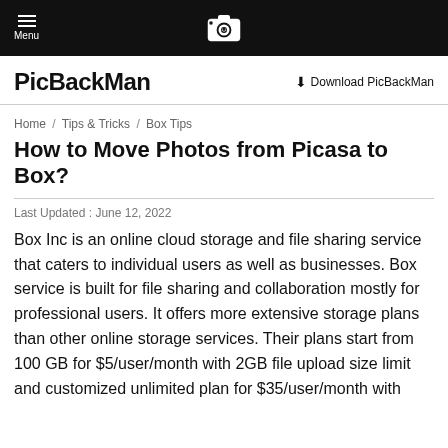Menu | [camera icon] | PicBackMan
PicBackMan
Download PicBackMan
Home / Tips & Tricks / Box Tips
How to Move Photos from Picasa to Box?
Last Updated : June 12, 2022
Box Inc is an online cloud storage and file sharing service that caters to individual users as well as businesses. Box service is built for file sharing and collaboration mostly for professional users. It offers more extensive storage plans than other online storage services. Their plans start from 100 GB for $5/user/month with 2GB file upload size limit and customized unlimited plan for $35/user/month with